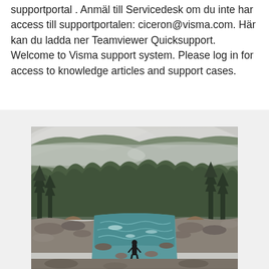supportportal . Anmäl till Servicedesk om du inte har access till supportportalen: ciceron@visma.com. Här kan du ladda ner Teamviewer Quicksupport. Welcome to Visma support system. Please log in for access to knowledge articles and support cases.
[Figure (photo): A person standing at the edge of a rocky riverbed with flowing turquoise water, surrounded by misty forested mountains in the background. Moody, overcast lighting with fog among the evergreen trees.]